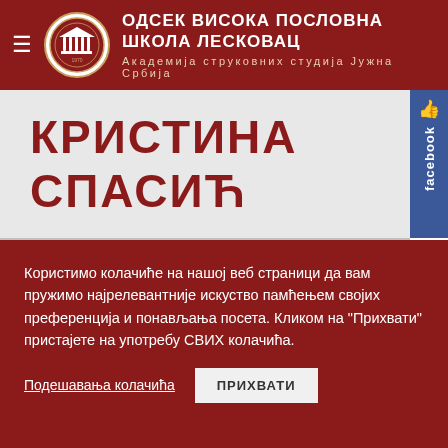ОДСЕК ВИСОКА ПОСЛОВНА ШКОЛА ЛЕСКОВАЦ
Академија струковних студија Јужна Србија
КРИСТИНА СПАСИЋ
Користимо колачиће на нашој веб страници да вам пружимо најрелевантније искуство памћењем својих преференција и понављања посета. Кликом на "Прихвати" пристајете на употребу СВИХ колачића.
Подешавања колачића   ПРИХВАТИ